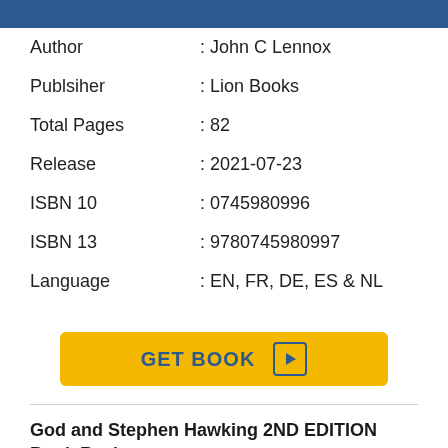[Figure (photo): Partial top of a book cover image, dark blue background]
| Author | : John C Lennox |
| Publsiher | : Lion Books |
| Total Pages | : 82 |
| Release | : 2021-07-23 |
| ISBN 10 | : 0745980996 |
| ISBN 13 | : 9780745980997 |
| Language | : EN, FR, DE, ES & NL |
[Figure (other): GET BOOK button with play icon, yellow background]
God and Stephen Hawking 2ND EDITION Book Review:
“It is a grandiose claim to have banished God. With such a lot at stake we surely need to ask